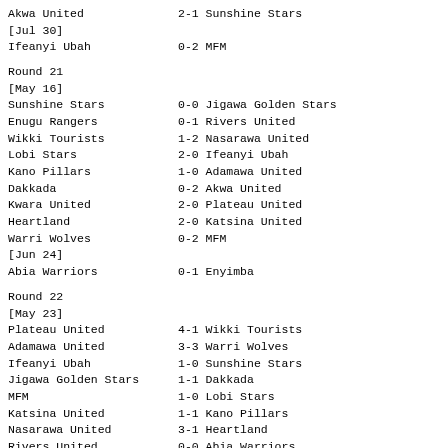Akwa United 2-1 Sunshine Stars
[Jul 30]
Ifeanyi Ubah 0-2 MFM
Round 21
[May 16]
Sunshine Stars 0-0 Jigawa Golden Stars
Enugu Rangers 0-1 Rivers United
Wikki Tourists 1-2 Nasarawa United
Lobi Stars 2-0 Ifeanyi Ubah
Kano Pillars 1-0 Adamawa United
Dakkada 0-2 Akwa United
Kwara United 2-0 Plateau United
Heartland 2-0 Katsina United
Warri Wolves 0-2 MFM
[Jun 24]
Abia Warriors 0-1 Enyimba
Round 22
[May 23]
Plateau United 4-1 Wikki Tourists
Adamawa United 3-3 Warri Wolves
Ifeanyi Ubah 1-0 Sunshine Stars
Jigawa Golden Stars 1-1 Dakkada
MFM 1-0 Lobi Stars
Katsina United 1-1 Kano Pillars
Nasarawa United 3-1 Heartland
Rivers United 0-0 Abia Warriors
[May 24]
Akwa United 0-0 Enugu Rangers